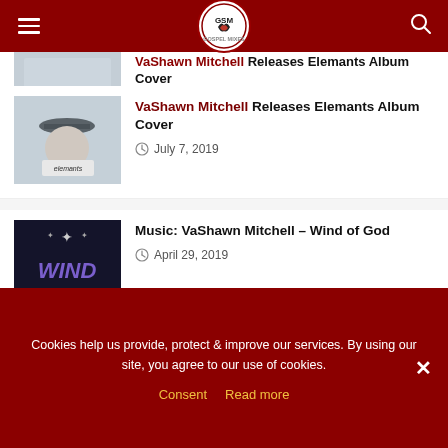Gospel Mix Media
VaShawn Mitchell Releases Elemants Album Cover — July 7, 2019
Music: VaShawn Mitchell – Wind of God — April 29, 2019
LOAD MORE
Cookies help us provide, protect & improve our services. By using our site, you agree to our use of cookies.
Consent   Read more